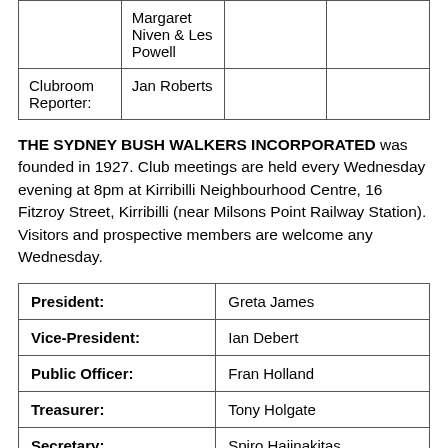|  | Margaret
Niven & Les Powell |  |  |
| Clubroom Reporter: | Jan Roberts |  |  |
THE SYDNEY BUSH WALKERS INCORPORATED was founded in 1927. Club meetings are held every Wednesday evening at 8pm at Kirribilli Neighbourhood Centre, 16 Fitzroy Street, Kirribilli (near Milsons Point Railway Station). Visitors and prospective members are welcome any Wednesday.
| President: | Greta James |
| Vice-President: | Ian Debert |
| Public Officer: | Fran Holland |
| Treasurer: | Tony Holgate |
| Secretary: | Spiro Hajinakitas |